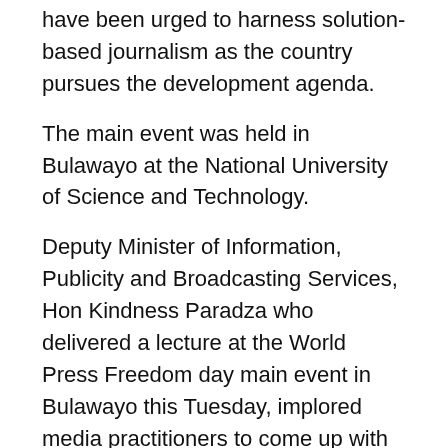have been urged to harness solution-based journalism as the country pursues the development agenda.
The main event was held in Bulawayo at the National University of Science and Technology.
Deputy Minister of Information, Publicity and Broadcasting Services, Hon Kindness Paradza who delivered a lecture at the World Press Freedom day main event in Bulawayo this Tuesday, implored media practitioners to come up with solution-based journalism to help build the nation.
“As the President always speaks of  the country being built by its owners, journalists should come up with solution-based journalism that will help build and develop the country. We cannot continue to have confrontational journalism that will not take us anywhere as a nation. Journalists should come up with solutions on how we